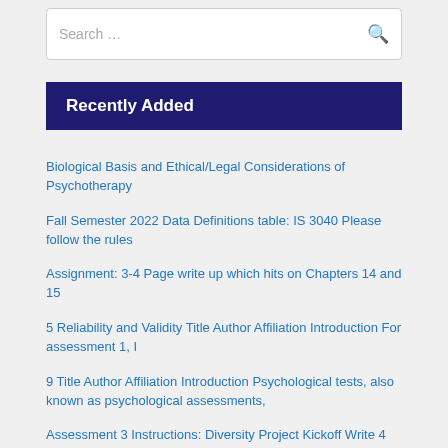Search …
Recently Added
Biological Basis and Ethical/Legal Considerations of Psychotherapy
Fall Semester 2022 Data Definitions table: IS 3040 Please follow the rules
Assignment: 3-4 Page write up which hits on Chapters 14 and 15
5 Reliability and Validity Title Author Affiliation Introduction For assessment 1, I
9 Title Author Affiliation Introduction Psychological tests, also known as psychological assessments,
Assessment 3 Instructions: Diversity Project Kickoff Write 4 page